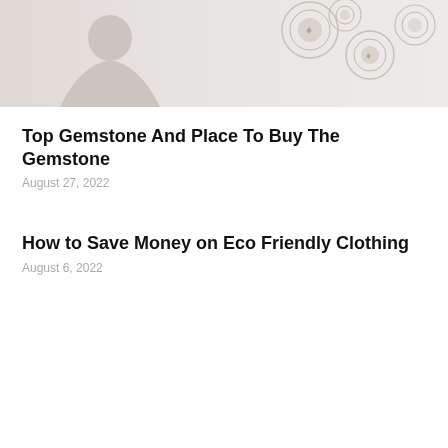[Figure (photo): A faded/light photograph showing a person on the left side and decorative circular gemstone or coin motifs on the right side, with a light pinkish-grey background.]
Top Gemstone And Place To Buy The Gemstone
August 27, 2022
How to Save Money on Eco Friendly Clothing
August 6, 2022